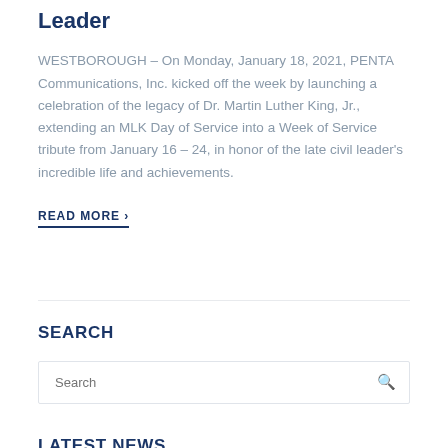Leader
WESTBOROUGH – On Monday, January 18, 2021, PENTA Communications, Inc. kicked off the week by launching a celebration of the legacy of Dr. Martin Luther King, Jr., extending an MLK Day of Service into a Week of Service tribute from January 16 – 24, in honor of the late civil leader's incredible life and achievements.
READ MORE ›
SEARCH
Search
LATEST NEWS